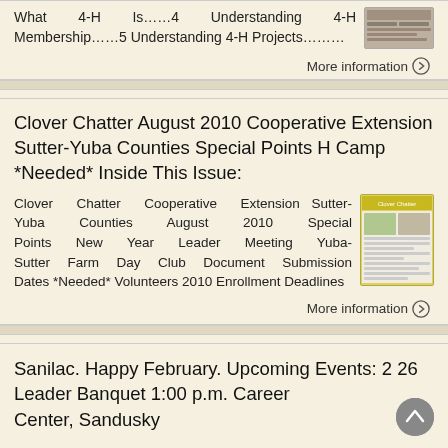What 4-H Is……4 Understanding 4-H Membership……5 Understanding 4-H Projects………
More information →
Clover Chatter August 2010 Cooperative Extension Sutter-Yuba Counties Special Points H Camp *Needed* Inside This Issue:
Clover Chatter Cooperative Extension Sutter-Yuba Counties August 2010 Special Points New Year Leader Meeting Yuba-Sutter Farm Day Club Document Submission Dates *Needed* Volunteers 2010 Enrollment Deadlines
[Figure (photo): Thumbnail image of Clover Chatter newsletter]
More information →
Sanilac. Happy February. Upcoming Events: 2 26 Leader Banquet 1:00 p.m. Career Center, Sandusky